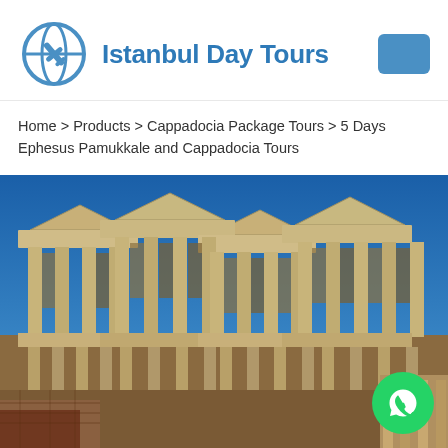Istanbul Day Tours
Home > Products > Cappadocia Package Tours > 5 Days Ephesus Pamukkale and Cappadocia Tours
[Figure (photo): Ancient Roman ruins of the Library of Celsus in Ephesus, Turkey — large stone columns and carved facade against a deep blue sky]